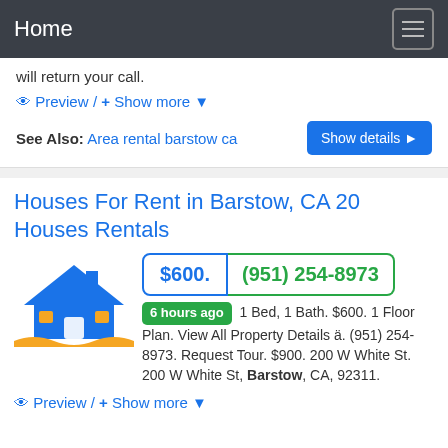Home
will return your call.
Preview / + Show more
See Also: Area rental barstow ca
Houses For Rent in Barstow, CA 20 Houses Rentals
$600.
(951) 254-8973
6 hours ago  1 Bed, 1 Bath. $600. 1 Floor Plan. View All Property Details ä. (951) 254-8973. Request Tour. $900. 200 W White St. 200 W White St, Barstow, CA, 92311.
Preview / + Show more